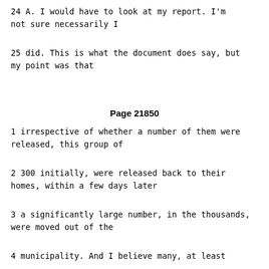24        A.    I would have to look at my report.  I'm not sure necessarily I
25        did.  This is what the document does say, but my point was that
Page 21850
1        irrespective of whether a number of them were released, this group of
2        300 initially, were released back to their homes, within a few days later
3        a significantly large number, in the thousands, were moved out of the
4        municipality.  And I believe many, at least